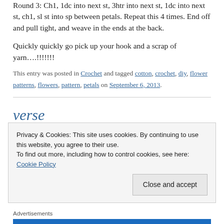Round 3: Ch1, 1dc into next st, 3htr into next st, 1dc into next st, ch1, sl st into sp between petals. Repeat this 4 times. End off and pull tight, and weave in the ends at the back.
Quickly quickly go pick up your hook and a scrap of yarn….!!!!!!!
This entry was posted in Crochet and tagged cotton, crochet, diy, flower patterns, flowers, pattern, petals on September 6, 2013.
verse
Privacy & Cookies: This site uses cookies. By continuing to use this website, you agree to their use.
To find out more, including how to control cookies, see here: Cookie Policy
Close and accept
Advertisements